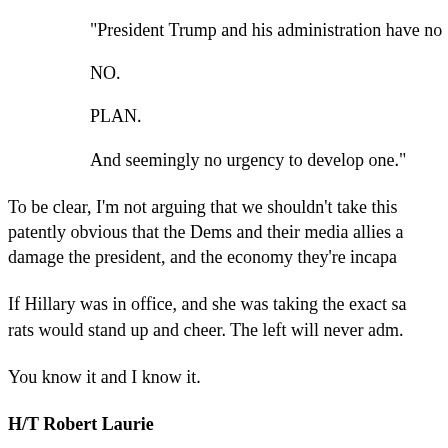"President Trump and his administration have no
NO.
PLAN.
And seemingly no urgency to develop one."
To be clear, I'm not arguing that we shouldn't take this patently obvious that the Dems and their media allies a damage the president, and the economy they're incapa
If Hillary was in office, and she was taking the exact sa rats would stand up and cheer. The left will never adm.
You know it and I know it.
H/T Robert Laurie